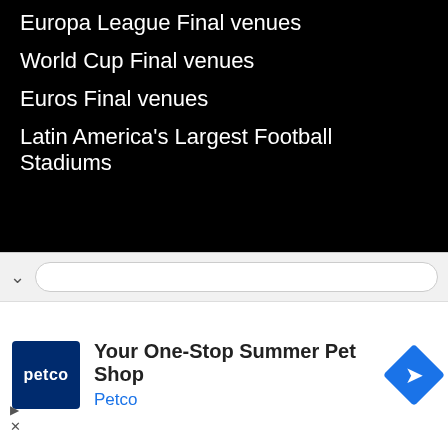Europa League Final venues
World Cup Final venues
Euros Final venues
Latin America's Largest Football Stadiums
About:
Contact us
[Figure (screenshot): Browser navigation bar with chevron and URL input field]
[Figure (infographic): Advertisement: Petco - Your One-Stop Summer Pet Shop with Petco logo and blue diamond navigation icon]